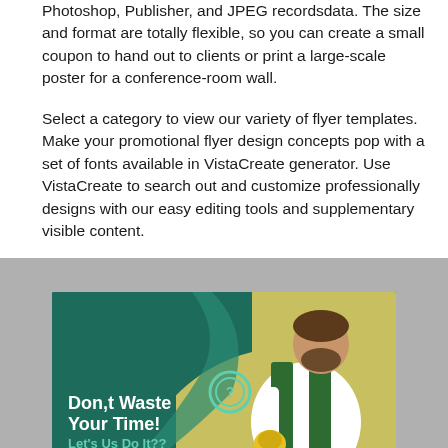Photoshop, Publisher, and JPEG recordsdata. The size and format are totally flexible, so you can create a small coupon to hand out to clients or print a large-scale poster for a conference-room wall.
Select a category to view our variety of flyer templates. Make your promotional flyer design concepts pop with a set of fonts available in VistaCreate generator. Use VistaCreate to search out and customize professionally designs with our easy editing tools and supplementary visible content.
[Figure (illustration): A promotional flyer template showing a cleaning service worker wearing green overalls and yellow gloves, working on a wall. The flyer has a dark teal/green background with a curved design element and text reading 'Don,t Waste Your Time! Let's Us Do It??' in white and teal.]